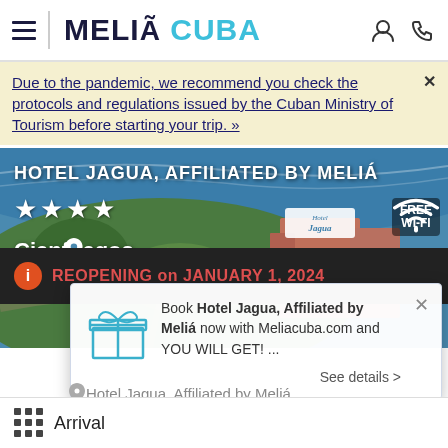MELIÁ CUBA
Due to the pandemic, we recommend you check the protocols and regulations issued by the Cuban Ministry of Tourism before starting your trip. »
[Figure (photo): Aerial photo of Hotel Jagua, Affiliated by Meliá in Cienfuegos, Cuba. Shows hotel buildings surrounded by tropical vegetation with ocean in background. White text overlay reads 'HOTEL JAGUA, AFFILIATED BY MELIÁ' with 4 stars, location pin icon, 'Cienfuegos', and FREE WI-FI badge.]
REOPENING on JANUARY 1, 2024
Book Hotel Jagua, Affiliated by Meliá now with Meliacuba.com and YOU WILL GET! ...
Hotel Jagua, Affiliated by Meliá
See details >
Arrival